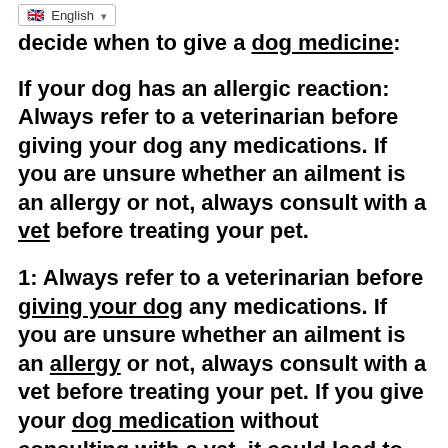guidelines to help you decide when to give a dog medicine:
If your dog has an allergic reaction: Always refer to a veterinarian before giving your dog any medications. If you are unsure whether an ailment is an allergy or not, always consult with a vet before treating your pet.
1: Always refer to a veterinarian before giving your dog any medications. If you are unsure whether an ailment is an allergy or not, always consult with a vet before treating your pet. If you give your dog medication without consulting with a vet, it could lead to serious